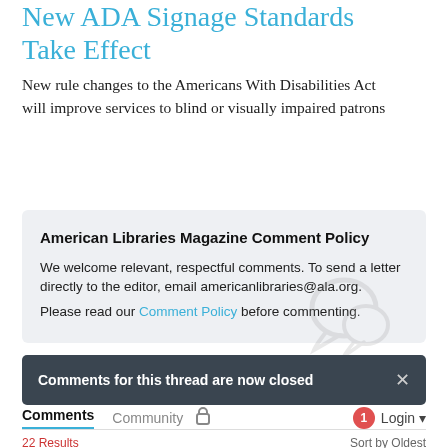New ADA Signage Standards Take Effect
New rule changes to the Americans With Disabilities Act will improve services to blind or visually impaired patrons
American Libraries Magazine Comment Policy
We welcome relevant, respectful comments. To send a letter directly to the editor, email americanlibraries@ala.org.
Please read our Comment Policy before commenting.
Comments for this thread are now closed
Comments  Community  Login
Sort by Oldest